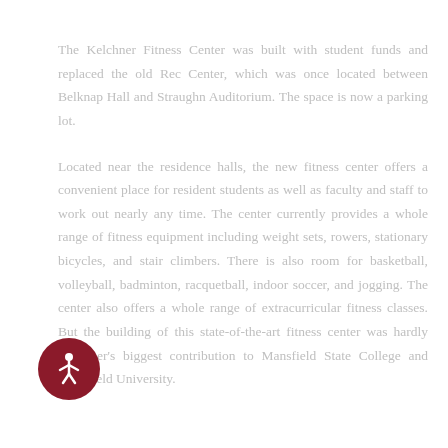The Kelchner Fitness Center was built with student funds and replaced the old Rec Center, which was once located between Belknap Hall and Straughn Auditorium. The space is now a parking lot.
Located near the residence halls, the new fitness center offers a convenient place for resident students as well as faculty and staff to work out nearly any time. The center currently provides a whole range of fitness equipment including weight sets, rowers, stationary bicycles, and stair climbers. There is also room for basketball, volleyball, badminton, racquetball, indoor soccer, and jogging. The center also offers a whole range of extracurricular fitness classes. But the building of this state-of-the-art fitness center was hardly Kelchner's biggest contribution to Mansfield State College and Mansfield University.
[Figure (illustration): Dark red circular accessibility icon showing a person figure with arms outstretched]